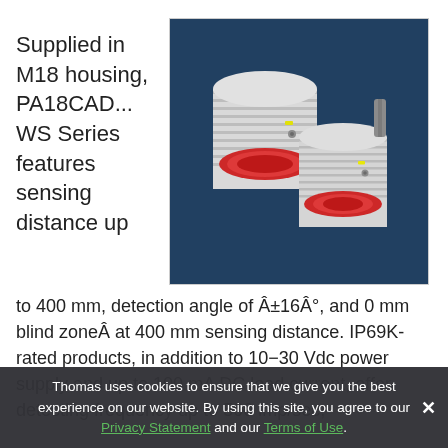Supplied in M18 housing, PA18CAD... WS Series features sensing distance up
[Figure (photo): Two white cylindrical M18 photoelectric sensors with red lens faces and ribbed housings, shown on a dark blue background.]
to 400 mm, detection angle of ±16°, and 0 mm blind zone at 400 mm sensing distance. IP69K-rated products, in addition to 10-30 Vdc power supply and up to 100 mA DC load current, offer detecting frequency up to 500 imp/sec,
Thomas uses cookies to ensure that we give you the best experience on our website. By using this site, you agree to our Privacy Statement and our Terms of Use.